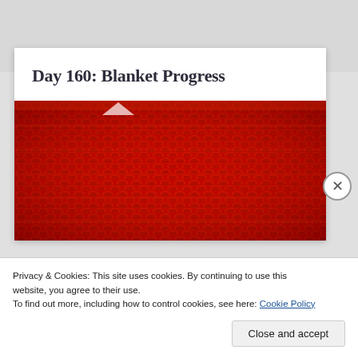Day 160: Blanket Progress
[Figure (photo): Close-up photo of a red crocheted or knitted blanket showing textured yarn stitches in deep red/crimson color]
Privacy & Cookies: This site uses cookies. By continuing to use this website, you agree to their use.
To find out more, including how to control cookies, see here: Cookie Policy
Close and accept